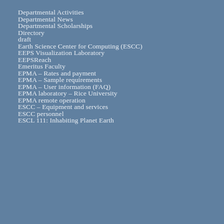Departmental Activities
Departmental News
Departmental Scholarships
Directory
draft
Earth Science Center for Computing (ESCC)
EEPS Visualization Laboratory
EEPSReach
Emeritus Faculty
EPMA – Rates and payment
EPMA – Sample requirements
EPMA – User information (FAQ)
EPMA laboratory – Rice University
EPMA remote operation
ESCC – Equipment and services
ESCC personnel
ESCL 111: Inhabiting Planet Earth